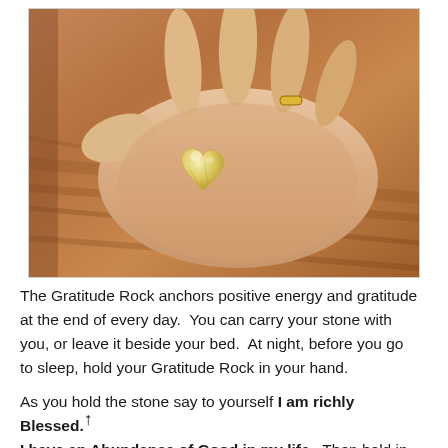[Figure (photo): A photograph of an open hand (palm up) holding a small translucent yellow/amber heart-shaped crystal or gemstone. The hand appears to belong to a woman wearing a gold ring on her ring finger. The background shows a wooden surface with warm brown tones.]
The Gratitude Rock anchors positive energy and gratitude at the end of every day.  You can carry your stone with you, or leave it beside your bed.  At night, before you go to sleep, hold your Gratitude Rock in your hand.
As you hold the stone say to yourself I am richly Blessed. I have an Abundance of Good in my life.  Then hold in